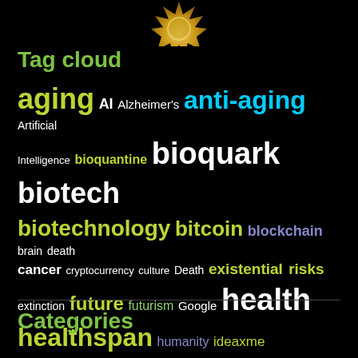[Figure (illustration): Gold/yellow star badge or seal partially visible at top center of page]
Tag cloud
[Figure (infographic): Tag cloud with various technology, health, longevity, and futurism related terms in different colors and sizes on black background. Terms include: aging, AI, Alzheimer's, anti-aging, Artificial Intelligence, bioquantine, bioquark, biotech, biotechnology, bitcoin, blockchain, brain death, cancer, cryptocurrency, culture, Death, existential risks, extinction, future, futurism, Google, health, healthspan, humanity, ideaxme, immortality, Interstellar Travel, ira, pastor, Life extension, lifespan, longevity, NASA, Neuroscience, politics, reanima, regenerare, regeneration, research, risks, singularity, space, sustainability, technology, transhumanism, wellness]
Categories